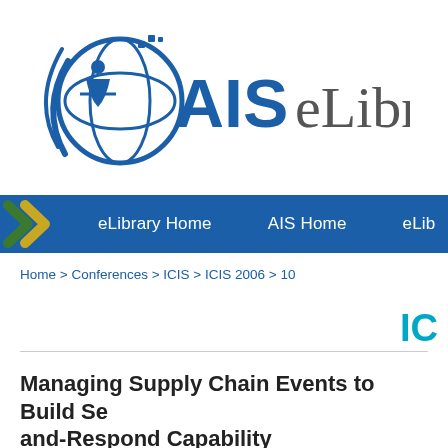[Figure (logo): AIS eLibrary logo with globe and figure icon on the left, text 'AIS eLibrary' on the right]
[Figure (other): Navigation bar with blue background, chevron arrows in green and gold, links: eLibrary Home, AIS Home, eLib]
Home > Conferences > ICIS > ICIS 2006 > 10
IC
Managing Supply Chain Events to Build Se and-Respond Capability
Akhil Kumar, Pennsylvania State University